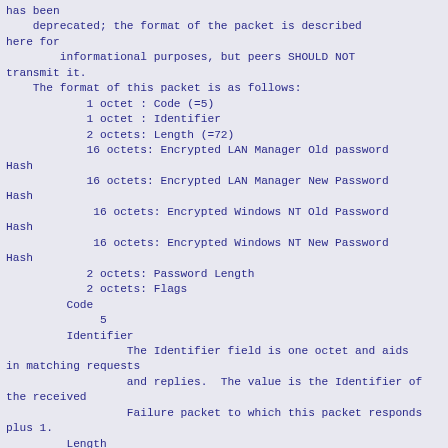has been
    deprecated; the format of the packet is described
here for
        informational purposes, but peers SHOULD NOT
transmit it.
    The format of this packet is as follows:
            1 octet : Code (=5)
            1 octet : Identifier
            2 octets: Length (=72)
            16 octets: Encrypted LAN Manager Old password
Hash
            16 octets: Encrypted LAN Manager New Password
Hash
             16 octets: Encrypted Windows NT Old Password
Hash
             16 octets: Encrypted Windows NT New Password
Hash
            2 octets: Password Length
            2 octets: Flags
         Code
              5
         Identifier
                  The Identifier field is one octet and aids
in matching requests
                  and replies.  The value is the Identifier of
the received
                  Failure packet to which this packet responds
plus 1.
         Length
              72